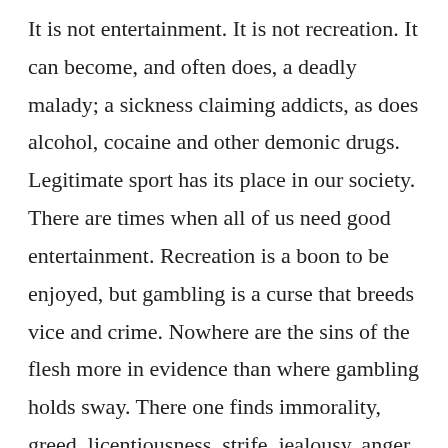It is not entertainment. It is not recreation. It can become, and often does, a deadly malady; a sickness claiming addicts, as does alcohol, cocaine and other demonic drugs. Legitimate sport has its place in our society. There are times when all of us need good entertainment. Recreation is a boon to be enjoyed, but gambling is a curse that breeds vice and crime. Nowhere are the sins of the flesh more in evidence than where gambling holds sway. There one finds immorality, greed, licentiousness, strife, jealousy, anger, selfishness, and the list goes on. Listen again to what Jesus says in Matthew 6:24, 33: “No man can serve two masters; for either he will hate the one, and love the other, or else he will hold to the one, and despise the other. You cannot serve